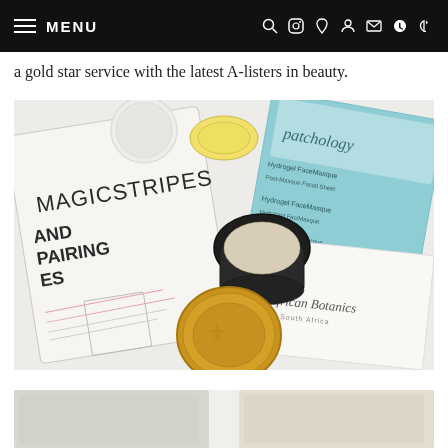MENU
a gold star service with the latest A-listers in beauty.
[Figure (photo): Flatlay of beauty products including MAGICSTRIPES Hand Repairing gloves packet, Patchology Post-Masque Facial Sheet packets, African Botanics branded sheet mask, a small open jar of lip balm, a dark cream jar, and a gold compact.]
[Figure (photo): Bottom partial image showing beauty products on light background.]